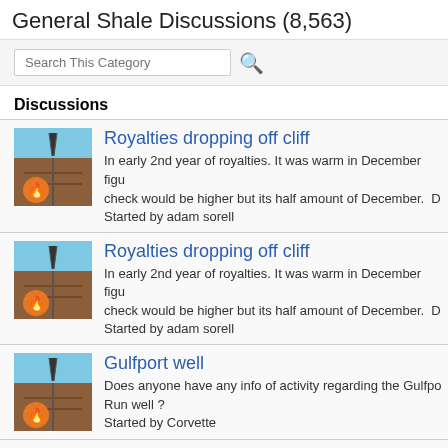General Shale Discussions (8,563)
Royalties dropping off cliff — In early 2nd year of royalties. It was warm in December figu... check would be higher but its half amount of December. D... Started by adam sorell
Royalties dropping off cliff — In early 2nd year of royalties. It was warm in December figu... check would be higher but its half amount of December. D... Started by adam sorell
Gulfport well — Does anyone have any info of activity regarding the Gulfpo... Run well ? Started by Corvette